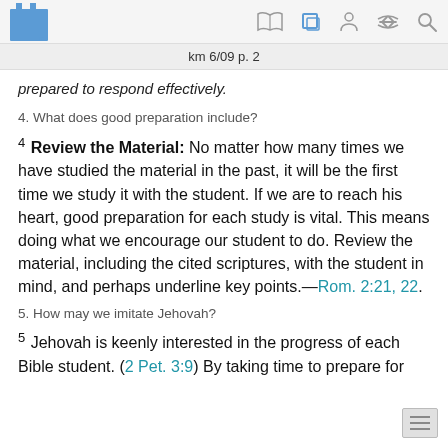km 6/09 p. 2
prepared to respond effectively.
4. What does good preparation include?
4 Review the Material: No matter how many times we have studied the material in the past, it will be the first time we study it with the student. If we are to reach his heart, good preparation for each study is vital. This means doing what we encourage our student to do. Review the material, including the cited scriptures, with the student in mind, and perhaps underline key points.—Rom. 2:21, 22.
5. How may we imitate Jehovah?
5 Jehovah is keenly interested in the progress of each Bible student. (2 Pet. 3:9) By taking time to prepare for